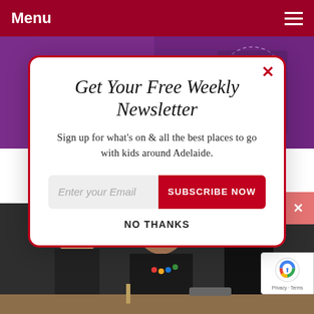Menu
[Figure (screenshot): Purple banner with location pins listing Gilles Plains, Kilburn, Ngarlunga Downs]
Get Your Free Weekly Newsletter
Sign up for what's on & all the best places to go with kids around Adelaide.
Enter your Email  SUBSCRIBE NOW
NO THANKS
[Figure (photo): Photo of woman and children smiling, doing an activity together]